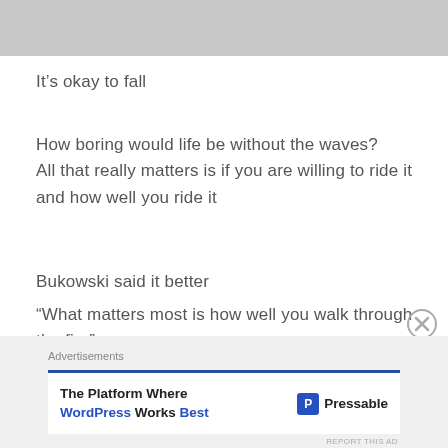[Figure (photo): Gray placeholder image area at the top of the page]
It’s okay to fall
How boring would life be without the waves?
All that really matters is if you are willing to ride it
and how well you ride it
Bukowski said it better
“What matters most is how well you walk through the fire”
[Figure (screenshot): Advertisement for Pressable: 'The Platform Where WordPress Works Best' with Pressable logo]
REPORT THIS AD